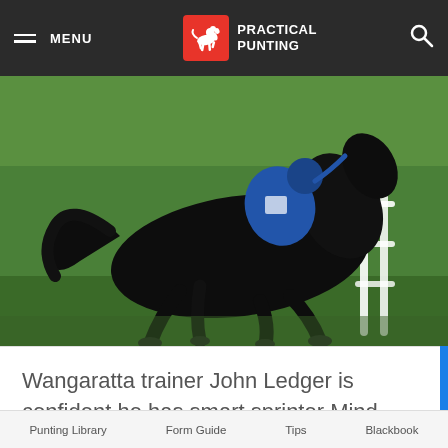MENU | PRACTICAL PUNTING
[Figure (photo): A black horse with jockey in blue silks galloping on a green grass track, white rail visible on the right side.]
Wangaratta trainer John Ledger is confident he has smart sprinter Mind Your Head going as well as he was last summer in preparation for a return to his favourite track in the Listed Monash Stakes (1100m) at Caulfield.Last campaign Mind
Punting Library   Form Guide   Tips   Blackbook